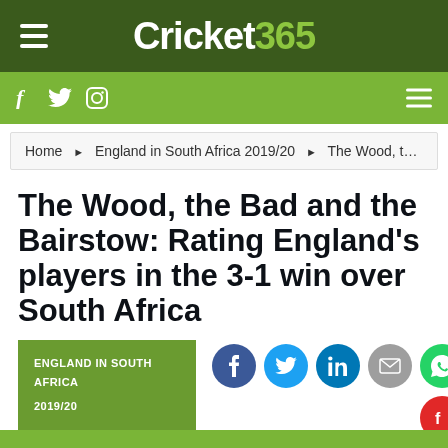Cricket365
Home ▶ England in South Africa 2019/20 ▶ The Wood, t…
The Wood, the Bad and the Bairstow: Rating England's players in the 3-1 win over South Africa
ENGLAND IN SOUTH AFRICA 2019/20